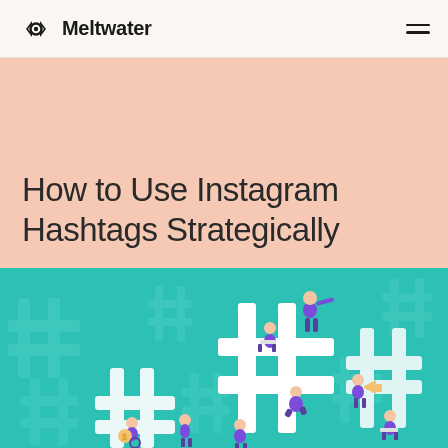Meltwater
How to Use Instagram Hashtags Strategically
[Figure (illustration): Teal/turquoise background with large white hashtag symbols and illustrated people in purple and white interacting with hashtags — climbing, sitting, looking through telescope, using megaphone, working on laptops]